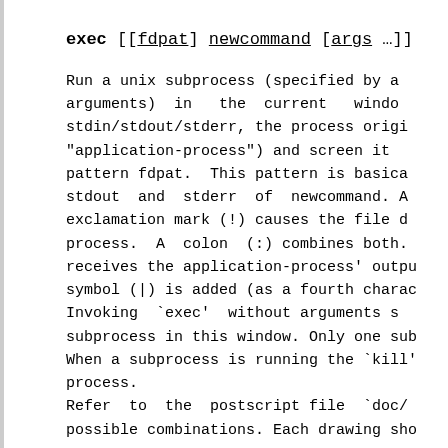exec [[fdpat] newcommand [args …]]
Run a unix subprocess (specified by a arguments) in the current windo stdin/stdout/stderr, the process origi "application-process") and screen it pattern fdpat. This pattern is basica stdout and stderr of newcommand. A exclamation mark (!) causes the file d process. A colon (:) combines both. receives the application-process' outpu symbol (|) is added (as a fourth charac Invoking `exec' without arguments s subprocess in this window. Only one sub When a subprocess is running the `kill' process. Refer to the postscript file `doc/ possible combinations. Each drawing sho